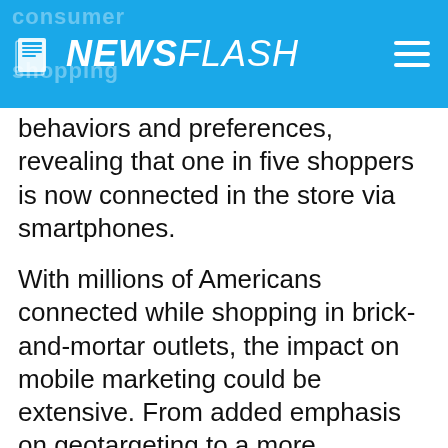NEWSFLASH
behaviors and preferences, revealing that one in five shoppers is now connected in the store via smartphones.
With millions of Americans connected while shopping in brick-and-mortar outlets, the impact on mobile marketing could be extensive. From added emphasis on geotargeting to a more concentrated focus on SMS, marketers have much to consider as they devise marketing strategies for 2014 and beyond.
Jon Stine, director of retail and consumer